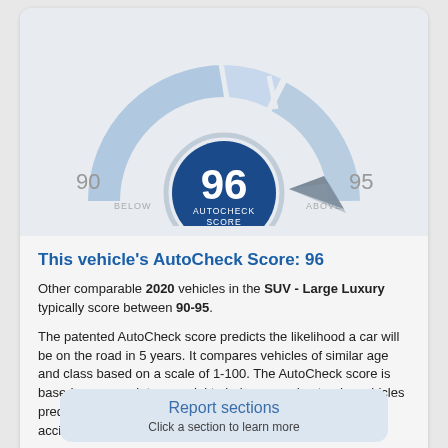[Figure (infographic): Semicircular gauge/speedometer showing AutoCheck Score of 96. The gauge has light blue arc segments. Left side shows '90 BELOW', right side shows '95 ABOVE'. A dark blue circle in the center displays '96' in large white text with 'AUTOCHECK SCORE' below. A dark pointer arrow points to the right (above 95) side.]
This vehicle's AutoCheck Score: 96
Other comparable 2020 vehicles in the SUV - Large Luxury typically score between 90-95.
The patented AutoCheck score predicts the likelihood a car will be on the road in 5 years. It compares vehicles of similar age and class based on a scale of 1-100. The AutoCheck score is based on a proprietary model to help you understand a vehicles predicted reliability as it pertains to age, number of owners, accidents and other vehicle history factors.
Learn more about the AutoCheck Score
Report sections
Click a section to learn more